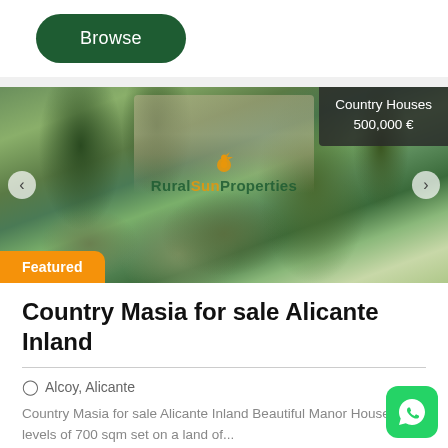[Figure (screenshot): Green rounded Browse button on white background]
[Figure (photo): Property listing photo of a country house surrounded by lush green trees and gardens. Watermark reads RuralSunProperties. Top-right badge shows 'Country Houses 500,000 €'. Bottom-left orange badge reads 'Featured'. Left and right carousel arrows visible.]
Country Masia for sale Alicante Inland
Alcoy, Alicante
Country Masia for sale Alicante Inland Beautiful Manor House on 3 levels of 700 sqm set on a land of...